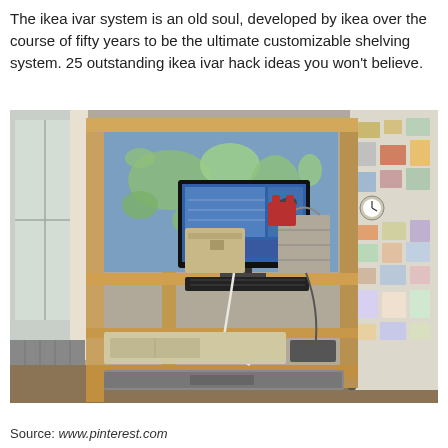The ikea ivar system is an old soul, developed by ikea over the course of fifty years to be the ultimate customizable shelving system. 25 outstanding ikea ivar hack ideas you won't believe.
[Figure (photo): Indoor photograph showing an IKEA IVAR wooden shelving unit used as a home office/computer desk. A monitor displays a map or web content, a world map poster is visible on the wall behind the shelf, there are storage boxes, a keyboard, and various items on the shelves. To the left is a window with a curtain, and to the right is a wall covered with pinned cards, photos, and papers.]
Source: www.pinterest.com